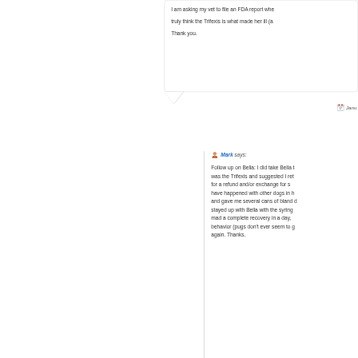I am asking my vet to file an FDA report whe... truly think the Trifexis is what made her ill (a... Thank you.
Janu...
Mark says:
Follow up on Bella: I did take Bella t... was the Trifexis and suggested I ret... for a refund and/or exchange for s... have happened with other dogs in h... and gave me several cans of bland d... stayed up with Bella with the syring... mad a complete recovery in a day,... behavior (pugs don't ever seem to g... again. Thanks.